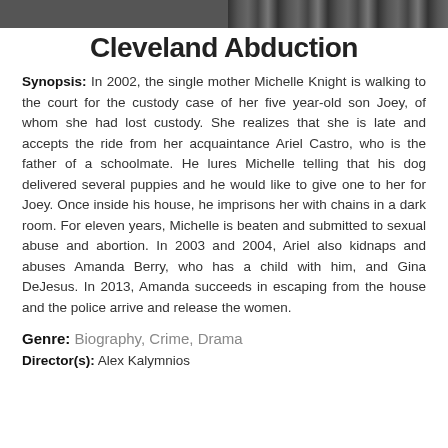[Figure (photo): Partial image strip at the top of the page, showing a dark/muted horizontal photograph]
Cleveland Abduction
Synopsis: In 2002, the single mother Michelle Knight is walking to the court for the custody case of her five year-old son Joey, of whom she had lost custody. She realizes that she is late and accepts the ride from her acquaintance Ariel Castro, who is the father of a schoolmate. He lures Michelle telling that his dog delivered several puppies and he would like to give one to her for Joey. Once inside his house, he imprisons her with chains in a dark room. For eleven years, Michelle is beaten and submitted to sexual abuse and abortion. In 2003 and 2004, Ariel also kidnaps and abuses Amanda Berry, who has a child with him, and Gina DeJesus. In 2013, Amanda succeeds in escaping from the house and the police arrive and release the women.
Genre: Biography, Crime, Drama
Director(s): Alex Kalymnios